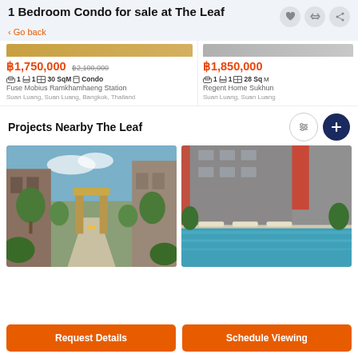1 Bedroom Condo for sale at The Leaf
< Go back
฿1,750,000  ฿2,100,000  1 bed  1 bath  30 SqM  Condo  Fuse Mobius Ramkhamhaeng Station  Suan Luang, Suan Luang, Bangkok, Thailand
฿1,850,000  1 bed  1 bath  28 SqM  Regent Home Sukhun  Suan Luang, Suan Luang
Projects Nearby The Leaf
[Figure (photo): Exterior entrance of a residential condo project with trees and a modern gate]
[Figure (photo): Swimming pool area of a residential condo project with loungers]
Request Details
Schedule Viewing